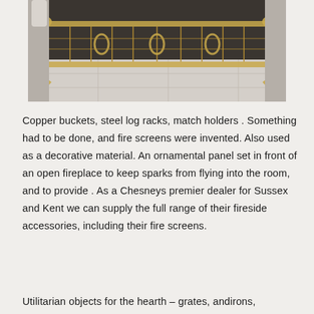[Figure (photo): A decorative ornate gold/brass fire screen with scrollwork design placed in front of a fireplace on a stone/marble floor.]
Copper buckets, steel log racks, match holders . Something had to be done, and fire screens were invented. Also used as a decorative material. An ornamental panel set in front of an open fireplace to keep sparks from flying into the room, and to provide . As a Chesneys premier dealer for Sussex and Kent we can supply the full range of their fireside accessories, including their fire screens.
Utilitarian objects for the hearth – grates, andirons,